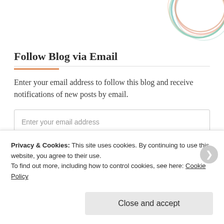[Figure (illustration): Decorative colorful circular swirl illustration in top-right corner (teal, salmon, green, orange colors)]
Follow Blog via Email
Enter your email address to follow this blog and receive notifications of new posts by email.
Enter your email address (input field placeholder)
Follow (button)
Privacy & Cookies: This site uses cookies. By continuing to use this website, you agree to their use.
To find out more, including how to control cookies, see here: Cookie Policy
Close and accept (button)